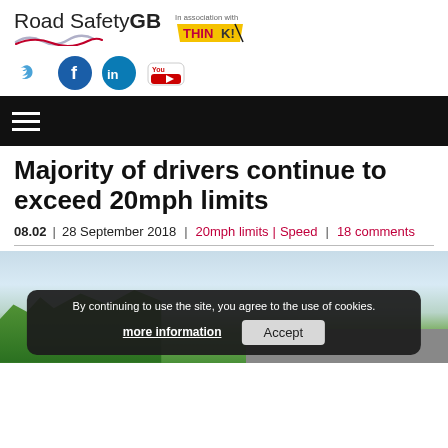[Figure (logo): Road Safety GB logo with wave graphic and THINK! association logo]
[Figure (infographic): Social media icons: Twitter bird (blue), Facebook circle (dark blue), LinkedIn circle (teal), YouTube rectangle (red/white)]
[Figure (other): Black navigation bar with hamburger menu icon (three white horizontal lines)]
Majority of drivers continue to exceed 20mph limits
08.02 | 28 September 2018 | 20mph limits | Speed | 18 comments
[Figure (photo): Outdoor road scene with green trees and blue sky; cookie consent banner overlay]